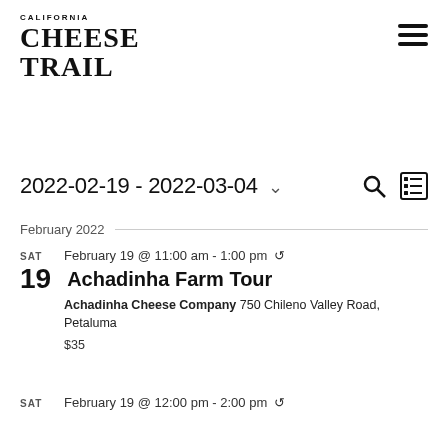CALIFORNIA CHEESE TRAIL
2022-02-19 - 2022-03-04
February 2022
SAT
February 19 @ 11:00 am - 1:00 pm
Achadinha Farm Tour
Achadinha Cheese Company 750 Chileno Valley Road, Petaluma
$35
SAT
February 19 @ 12:00 pm - 2:00 pm